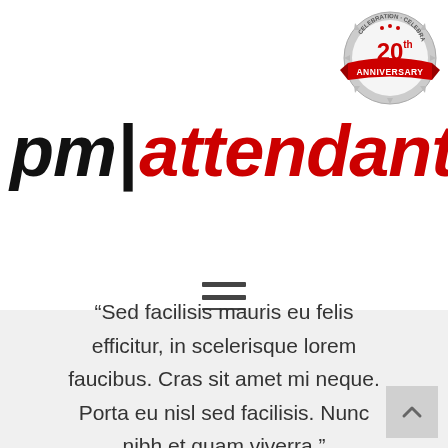[Figure (logo): 20th Anniversary badge/seal with red ribbon and silver gear border]
pm|attendant™
[Figure (other): Hamburger menu icon (three horizontal lines)]
“Sed facilisis mauris eu felis efficitur, in scelerisque lorem faucibus. Cras sit amet mi neque. Porta eu nisl sed facilisis. Nunc nibh et quam viverra.”